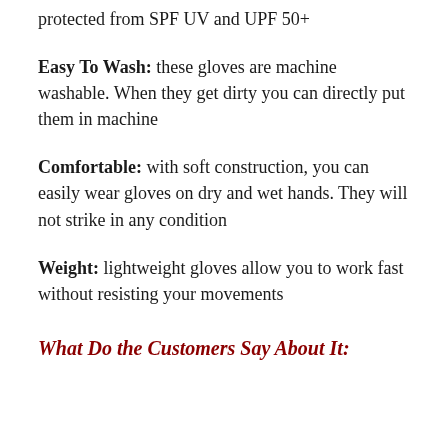protected from SPF UV and UPF 50+
Easy To Wash: these gloves are machine washable. When they get dirty you can directly put them in machine
Comfortable: with soft construction, you can easily wear gloves on dry and wet hands. They will not strike in any condition
Weight: lightweight gloves allow you to work fast without resisting your movements
What Do the Customers Say About It: